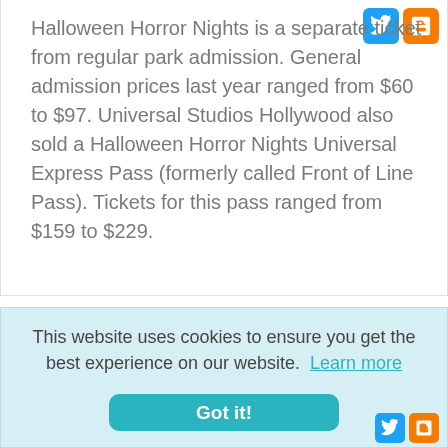[Figure (other): Twitter and Blogger social share icon buttons (top right)]
Halloween Horror Nights is a separate ticket from regular park admission. General admission prices last year ranged from $60 to $97. Universal Studios Hollywood also sold a Halloween Horror Nights Universal Express Pass (formerly called Front of Line Pass). Tickets for this pass ranged from $159 to $229.
This website uses cookies to ensure you get the best experience on our website. Learn more
Got it!
[Figure (other): Twitter and Blogger social share icon buttons (bottom right, partially visible)]